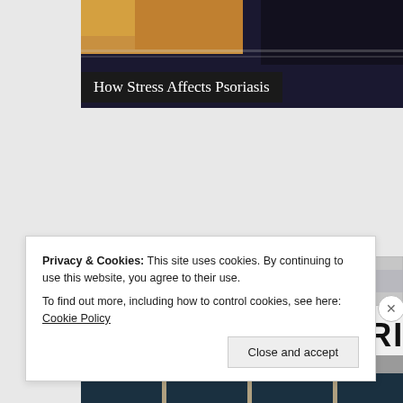[Figure (photo): Top portion of a webpage showing a partial photo of what appears to be hands or skin, with warm golden/dark tones, cropped at top]
How Stress Affects Psoriasis
[Figure (photo): Photo of a Social Security Administration building exterior, showing the sign reading 'SOCIAL SECURITY ADMI...' (cropped), with red torch/flame logo, gray/white facade, and windows below]
Privacy & Cookies: This site uses cookies. By continuing to use this website, you agree to their use.
To find out more, including how to control cookies, see here: Cookie Policy
Close and accept